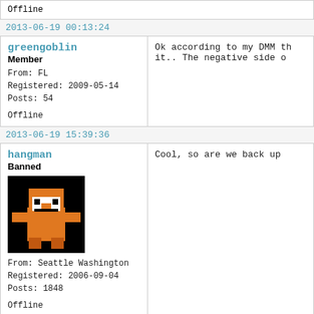Offline
2013-06-19 00:13:24
greengoblin
Member
From: FL
Registered: 2009-05-14
Posts: 54
Offline
Ok according to my DMM th
it..  The negative side o
2013-06-19 15:39:36
hangman
Banned
From: Seattle Washington
Registered: 2006-09-04
Posts: 1848
Offline
Cool,  so are we back up
2013-06-19 16:01:15
greengoblin
I wish I could say yes.